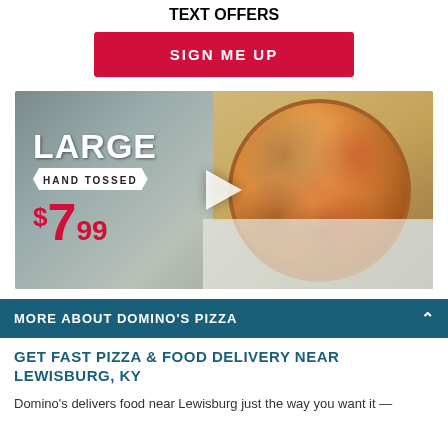TEXT OFFERS
SIGN ME UP
[Figure (photo): A large hand-tossed pizza in an open cardboard box with the text overlay: LARGE, HAND TOSSED, $7.99. A play button icon is in the center of the image.]
MORE ABOUT DOMINO'S PIZZA
GET FAST PIZZA & FOOD DELIVERY NEAR LEWISBURG, KY
Domino's delivers food near Lewisburg just the way you want it —